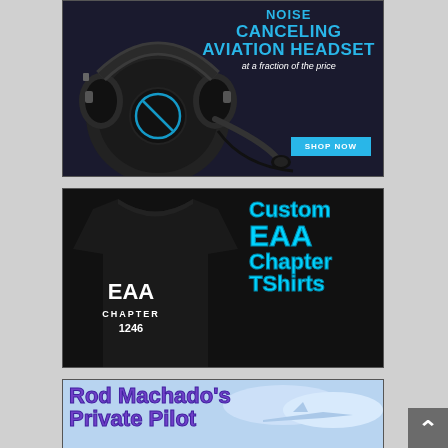[Figure (advertisement): Advertisement for a noise-canceling aviation headset at a fraction of the price, with 'SHOP NOW' button. Features a black headset image on dark background with cyan/blue text.]
[Figure (advertisement): Advertisement for Custom EAA Chapter TShirts featuring a black t-shirt with EAA CHAPTER 1246 logo and cyan text overlay.]
[Figure (advertisement): Advertisement for Rod Machado's Private Pilot course with purple text on light blue background.]